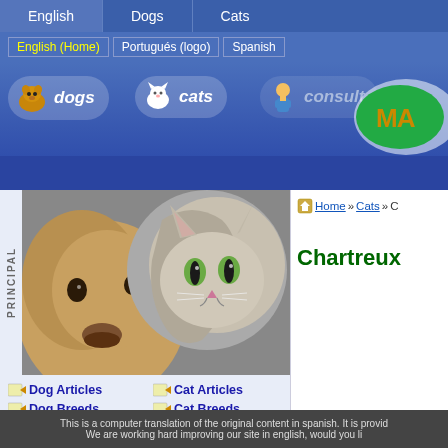English | Dogs | Cats
English (Home) | Português (logo) | Spanish
[Figure (screenshot): Navigation bar with dogs, cats, consult icons and site logo oval]
[Figure (photo): Close-up photo of a dog and cat side by side]
Dog Articles
Cat Articles
Dog Breeds
Cat Breeds
Spanish Dog Names
Spanish Cat Names
Videos
Photo Gallery
Featured Articles
Boxer
Pregnancy and Labor
Shih Tzu
Chihuahua
Home » Cats » C
Chartreux
This is a computer translation of the original content in spanish. It is provid... We are working hard improving our site in english, would you li...